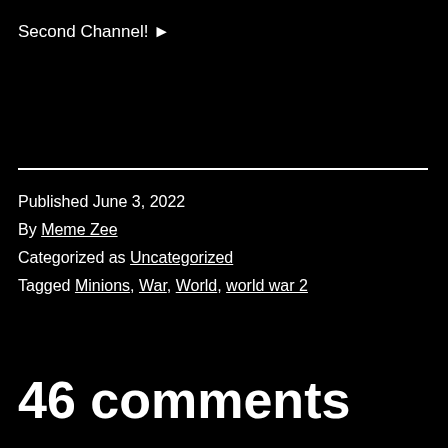Second Channel! ►
Published June 3, 2022
By Meme Zee
Categorized as Uncategorized
Tagged Minions, War, World, world war 2
46 comments